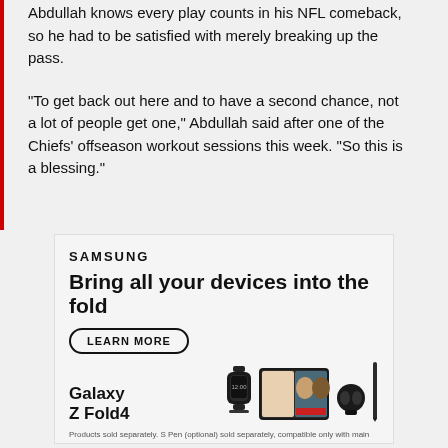Abdullah knows every play counts in his NFL comeback, so he had to be satisfied with merely breaking up the pass.
"To get back out here and to have a second chance, not a lot of people get one," Abdullah said after one of the Chiefs' offseason workout sessions this week. "So this is a blessing."
[Figure (other): Samsung advertisement for Galaxy Z Fold4 showing 'Bring all your devices into the fold' headline with a LEARN MORE button and product images of a Galaxy watch, foldable phone with video call on screen, earbuds case, and S Pen. Disclaimer text reads: Products sold separately. S Pen (optional) sold separately, compatible only with main display. Requires S Pen Fold Edition or S Pen Pro. Microsoft Teams requires separate download.]